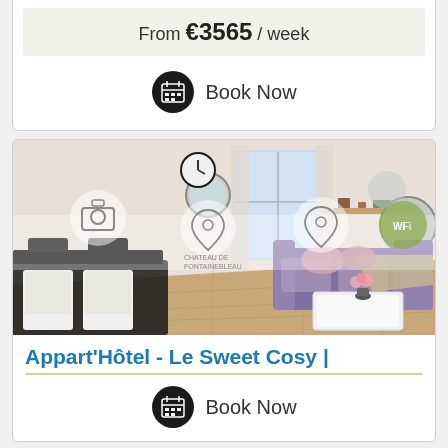Fontaineblead Sweet Home 8.5
From €3565 / week
Book Now
[Figure (photo): Interior photo of apartment living room with brown sofa, coffee table, dining area, hardwood floors, and overlaid icons for camera, location pin (CHATEAU DE FONTAINEBLEAU), another location pin, and WiFi]
Appart'Hôtel - Le Sweet Cosy |
Book Now